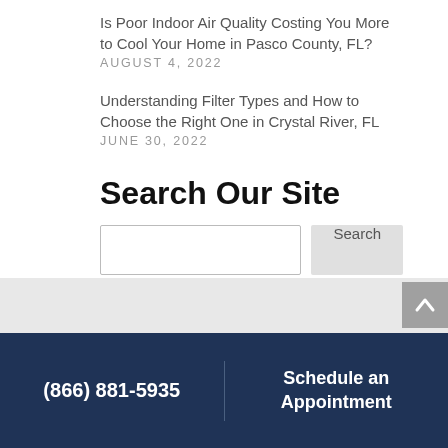Is Poor Indoor Air Quality Costing You More to Cool Your Home in Pasco County, FL?
AUGUST 4, 2022
Understanding Filter Types and How to Choose the Right One in Crystal River, FL
JUNE 30, 2022
Search Our Site
Search
(866) 881-5935
Schedule an Appointment